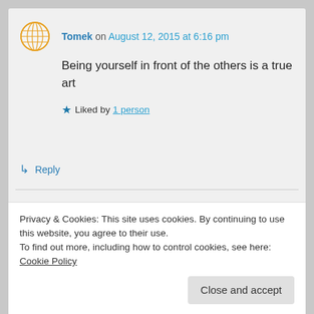Tomek on August 12, 2015 at 6:16 pm
Being yourself in front of the others is a true art
Liked by 1 person
↳ Reply
Patti Clark on August 13, 2015 at 10:24 am
Privacy & Cookies: This site uses cookies. By continuing to use this website, you agree to their use.
To find out more, including how to control cookies, see here: Cookie Policy
Close and accept